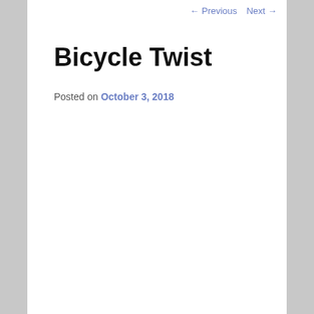← Previous   Next →
Bicycle Twist
Posted on October 3, 2018